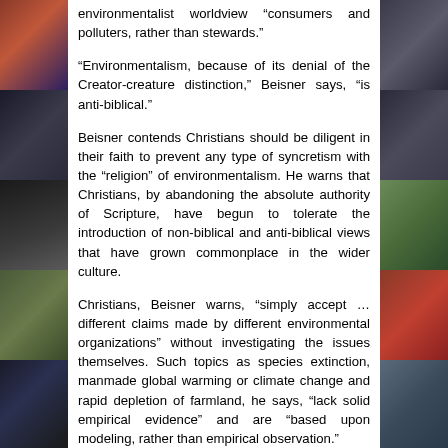environmentalist worldview “consumers and polluters, rather than stewards.”
“Environmentalism, because of its denial of the Creator-creature distinction,” Beisner says, “is anti-biblical.”
Beisner contends Christians should be diligent in their faith to prevent any type of syncretism with the “religion” of environmentalism. He warns that Christians, by abandoning the absolute authority of Scripture, have begun to tolerate the introduction of non-biblical and anti-biblical views that have grown commonplace in the wider culture.
Christians, Beisner warns, “simply accept … different claims made by different environmental organizations” without investigating the issues themselves. Such topics as species extinction, manmade global warming or climate change and rapid depletion of farmland, he says, “lack solid empirical evidence” and are “based upon modeling, rather than empirical observation.”